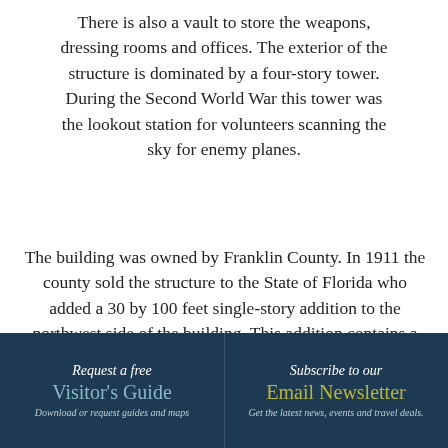There is also a vault to store the weapons, dressing rooms and offices.  The exterior of the structure is dominated by a four-story tower.  During the Second World War this tower was the lookout station for volunteers scanning the sky for enemy planes.
The building was owned by Franklin County.  In 1911 the county sold the structure to the State of Florida who added a 30 by 100 feet single-story addition to the northwest side of the building.  This addition contains a kitchen,
Request a free Visitor's Guide Download or request guides and maps | Subscribe to our Email Newsletter Get the latest news, events and travel deals.